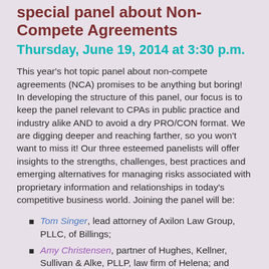special panel about Non-Compete Agreements
Thursday, June 19, 2014 at 3:30 p.m.
This year's hot topic panel about non-compete agreements (NCA) promises to be anything but boring! In developing the structure of this panel, our focus is to keep the panel relevant to CPAs in public practice and industry alike AND to avoid a dry PRO/CON format. We are digging deeper and reaching farther, so you won't want to miss it! Our three esteemed panelists will offer insights to the strengths, challenges, best practices and emerging alternatives for managing risks associated with proprietary information and relationships in today's competitive business world. Joining the panel will be:
Tom Singer, lead attorney of Axilon Law Group, PLLC, of Billings;
Amy Christensen, partner of Hughes, Kellner, Sullivan & Alke, PLLP, law firm of Helena; and